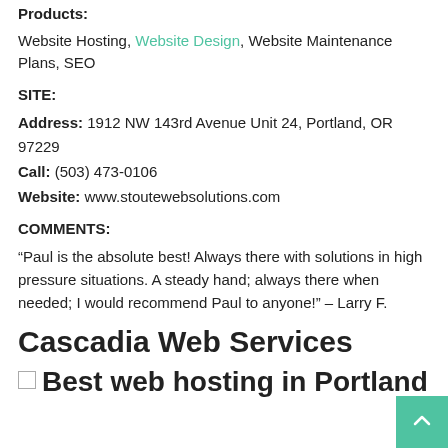Products:
Website Hosting, Website Design, Website Maintenance Plans, SEO
SITE:
Address: 1912 NW 143rd Avenue Unit 24, Portland, OR 97229
Call: (503) 473-0106
Website: www.stoutewebsolutions.com
COMMENTS:
“Paul is the absolute best! Always there with solutions in high pressure situations. A steady hand; always there when needed; I would recommend Paul to anyone!” – Larry F.
Cascadia Web Services
Best web hosting in Portland